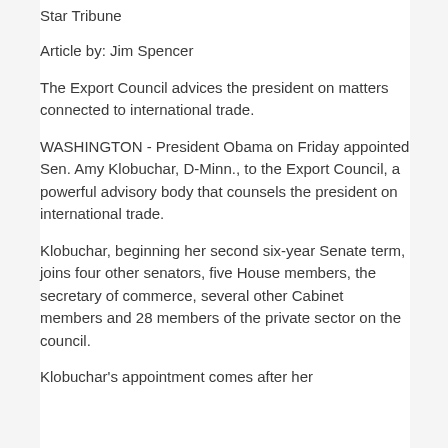Star Tribune
Article by: Jim Spencer
The Export Council advices the president on matters connected to international trade.
WASHINGTON - President Obama on Friday appointed Sen. Amy Klobuchar, D-Minn., to the Export Council, a powerful advisory body that counsels the president on international trade.
Klobuchar, beginning her second six-year Senate term, joins four other senators, five House members, the secretary of commerce, several other Cabinet members and 28 members of the private sector on the council.
Klobuchar's appointment comes after her